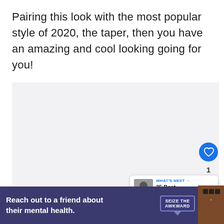Pairing this look with the most popular style of 2020, the taper, then you have an amazing and cool looking going for you!
[Figure (other): Light gray placeholder image area with social interaction buttons (heart/like button in blue, like count '1', and share button) overlaid on the right side, and a 'What's Next' card in the lower right showing a thumbnail of a man's face with text 'WHAT'S NEXT → 25 Best Slicked Bac...']
Reach out to a friend about their mental health.
[Figure (logo): SEIZE THE AWKWARD badge/logo in a blue-outlined box with a downward triangle, and a partial brown logo on the right edge of the ad banner]